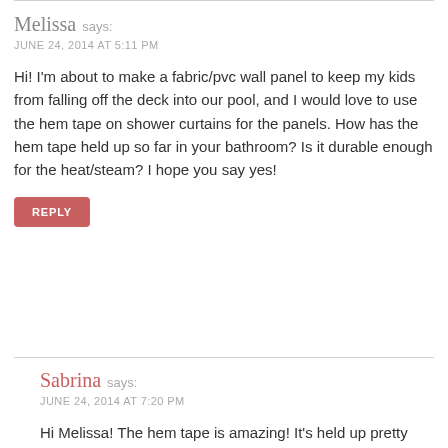Melissa says:
JUNE 24, 2014 AT 5:11 PM
Hi! I'm about to make a fabric/pvc wall panel to keep my kids from falling off the deck into our pool, and I would love to use the hem tape on shower curtains for the panels. How has the hem tape held up so far in your bathroom? Is it durable enough for the heat/steam? I hope you say yes!
REPLY
Sabrina says:
JUNE 24, 2014 AT 7:20 PM
Hi Melissa! The hem tape is amazing! It's held up pretty nicely. Not only